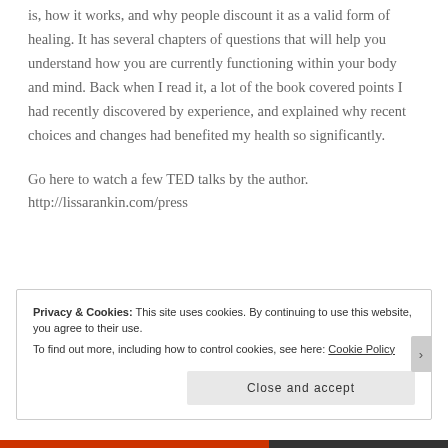is, how it works, and why people discount it as a valid form of healing. It has several chapters of questions that will help you understand how you are currently functioning within your body and mind. Back when I read it, a lot of the book covered points I had recently discovered by experience, and explained why recent choices and changes had benefited my health so significantly.
Go here to watch a few TED talks by the author.
http://lissarankin.com/press
Privacy & Cookies: This site uses cookies. By continuing to use this website, you agree to their use.
To find out more, including how to control cookies, see here: Cookie Policy
Close and accept